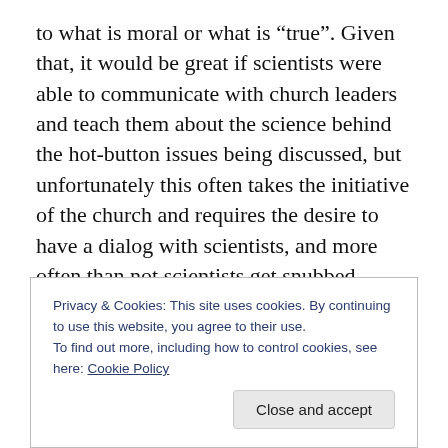to what is moral or what is “true”. Given that, it would be great if scientists were able to communicate with church leaders and teach them about the science behind the hot-button issues being discussed, but unfortunately this often takes the initiative of the church and requires the desire to have a dialog with scientists, and more often than not scientists get snubbed. Indeed, there are people who consider science to be the handmaiden of atheism (and therefore the devil), and not wanting to jeopardize the faith of their flocks church leaders would rather pick and choose verses from the Bible to support their own ideas
Privacy & Cookies: This site uses cookies. By continuing to use this website, you agree to their use.
To find out more, including how to control cookies, see here: Cookie Policy
Close and accept